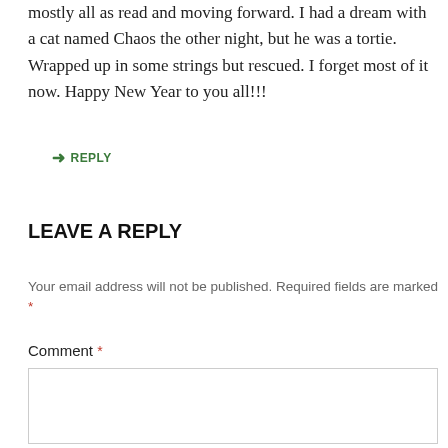mostly all as read and moving forward. I had a dream with a cat named Chaos the other night, but he was a tortie. Wrapped up in some strings but rescued. I forget most of it now. Happy New Year to you all!!!
↳ REPLY
LEAVE A REPLY
Your email address will not be published. Required fields are marked *
Comment *